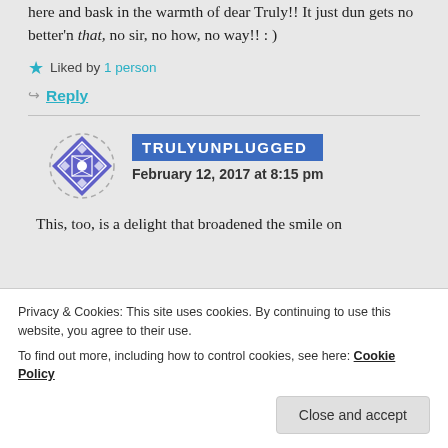here and bask in the warmth of dear Truly!! It just dun gets no better'n that, no sir, no how, no way!! : )
★ Liked by 1 person
↪ Reply
TRULYUNPLUGGED — February 12, 2017 at 8:15 pm
This, too, is a delight that broadened the smile on
Privacy & Cookies: This site uses cookies. By continuing to use this website, you agree to their use. To find out more, including how to control cookies, see here: Cookie Policy